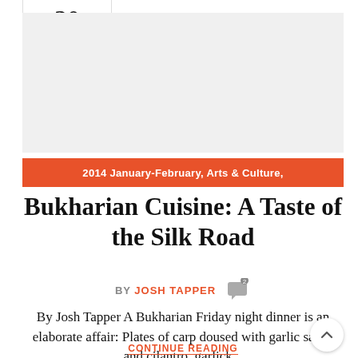20 JAN
[Figure (photo): Article featured image placeholder area (gray/white space)]
2014 January-February, Arts & Culture,
Bukharian Cuisine: A Taste of the Silk Road
BY JOSH TAPPER
By Josh Tapper A Bukharian Friday night dinner is an elaborate affair: Plates of carp doused with garlic sauce and cilantro, garlick...
CONTINUE READING